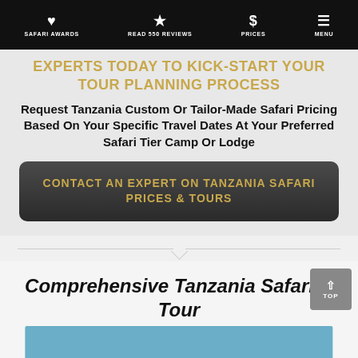SAFARI AWARDS | READ 550 REVIEWS | PRICES | MENU
EXPERTS TODAY TO KICK-START YOUR TOUR PLANNING PROCESS
Request Tanzania Custom Or Tailor-Made Safari Pricing Based On Your Specific Travel Dates At Your Preferred Safari Tier Camp Or Lodge
CONTACT AN EXPERT ON TANZANIA SAFARI PRICES & TOURS
Comprehensive Tanzania Safari & Tour Planning Guide
[Figure (photo): Partial view of a photo at the bottom of the page, appears to be a safari or travel related image with blue/teal tones]